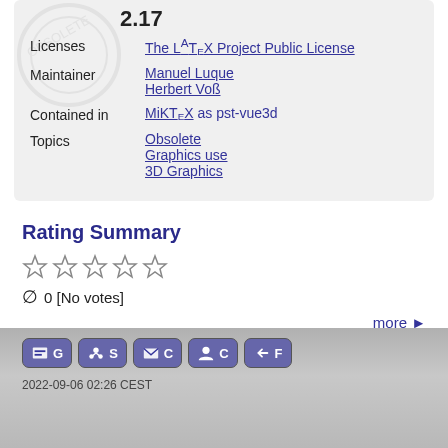| Property | Value |
| --- | --- |
| Licenses | The LaTeX Project Public License |
| Maintainer | Manuel Luque
Herbert Voß |
| Contained in | MiKTeX as pst-vue3d |
| Topics | Obsolete
Graphics use
3D Graphics |
Rating Summary
☆☆☆☆☆
∅ 0 [No votes]
more →
2022-09-06 02:26 CEST